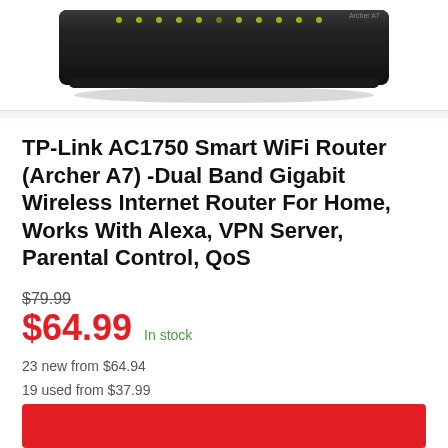[Figure (photo): Bottom portion of a TP-Link AC1750 router (Archer A7) showing the dark black body with LED indicator lights along the top edge, on a white background.]
TP-Link AC1750 Smart WiFi Router (Archer A7) -Dual Band Gigabit Wireless Internet Router For Home, Works With Alexa, VPN Server, Parental Control, QoS
$79.99
$64.99  In stock
23 new from $64.94
19 used from $37.99
Free shipping